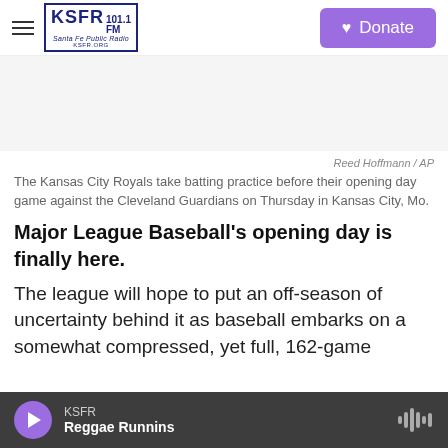KSFR 101.1 FM Santa Fe Public Radio | Donate
[Figure (photo): Gray advertisement placeholder area]
Reed Hoffmann / AP
The Kansas City Royals take batting practice before their opening day game against the Cleveland Guardians on Thursday in Kansas City, Mo.
Major League Baseball's opening day is finally here.
The league will hope to put an off-season of uncertainty behind it as baseball embarks on a somewhat compressed, yet full, 162-game
KSFR  Reggae Runnins